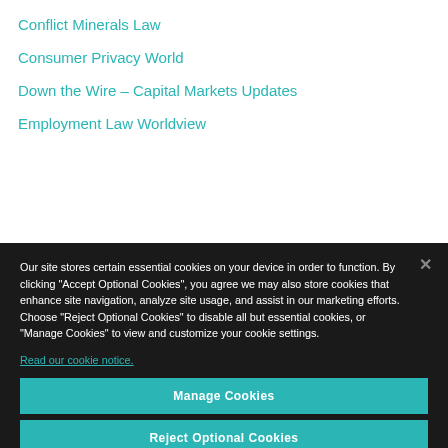Conflict Minerals Law
Consumer Privacy World
Down the Wire – Capital Markets Updates
Employment Law Worldview
Our site stores certain essential cookies on your device in order to function. By clicking “Accept Optional Cookies”, you agree we may also store cookies that enhance site navigation, analyze site usage, and assist in our marketing efforts. Choose “Reject Optional Cookies” to disable all but essential cookies, or “Manage Cookies” to view and customize your cookie settings.
Read our cookie notice.
Manage Cookies
Reject Optional Cookies
Accept Optional Cookies